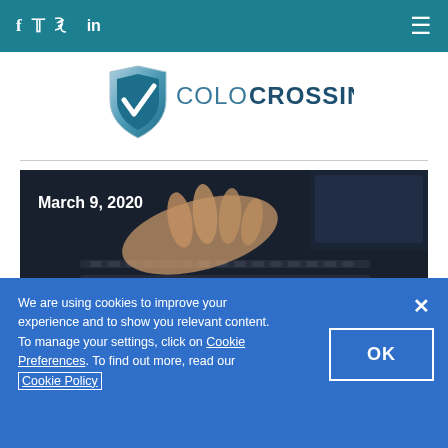f  [twitter]  in  [hamburger menu]
[Figure (logo): ColoCrossing logo: shield icon with checkmark in teal/blue gradient, text 'COLO CROSSING' in dark teal]
[Figure (photo): Close-up photo of hands typing on a laptop keyboard, dark moody lighting, date overlay: March 9, 2020]
We are using cookies to improve your experience and to show you relevant content. To manage your settings, click on Cookie Preferences. To find out more, read our Cookie Policy
OK
×